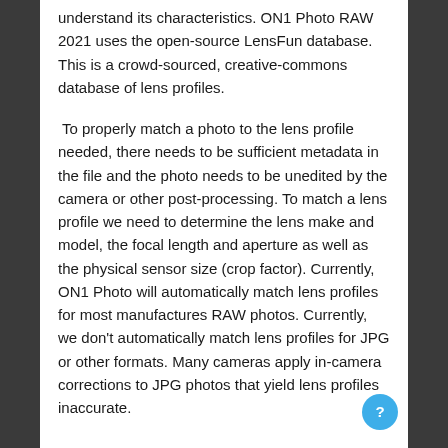understand its characteristics. ON1 Photo RAW 2021 uses the open-source LensFun database. This is a crowd-sourced, creative-commons database of lens profiles.
To properly match a photo to the lens profile needed, there needs to be sufficient metadata in the file and the photo needs to be unedited by the camera or other post-processing. To match a lens profile we need to determine the lens make and model, the focal length and aperture as well as the physical sensor size (crop factor). Currently, ON1 Photo will automatically match lens profiles for most manufactures RAW photos. Currently, we don't automatically match lens profiles for JPG or other formats. Many cameras apply in-camera corrections to JPG photos that yield lens profiles inaccurate.